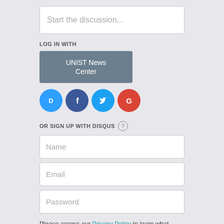Start the discussion...
LOG IN WITH
UNIST News Center
[Figure (logo): Social login icons: Disqus (blue speech bubble D), Facebook (dark blue F), Twitter (light blue bird), Google (red G)]
OR SIGN UP WITH DISQUS ?
Name
Email
Password
Please access our Privacy Policy to learn what personal data Disqus collects and your choices about how it is used. All users of our service are also subject to our Terms of Service.